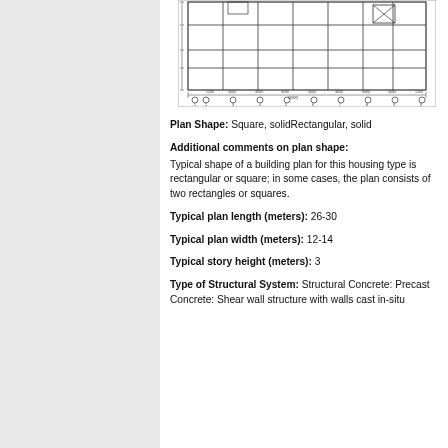[Figure (engineering-diagram): Architectural floor plan drawing showing a rectangular building layout with numbered column grid lines and dimension annotations.]
Plan Shape: Square, solidRectangular, solid
Additional comments on plan shape:
Typical shape of a building plan for this housing type is rectangular or square; in some cases, the plan consists of two rectangles or squares.
Typical plan length (meters): 26-30
Typical plan width (meters): 12-14
Typical story height (meters): 3
Type of Structural System: Structural Concrete: Precast Concrete: Shear wall structure with walls cast in-situ